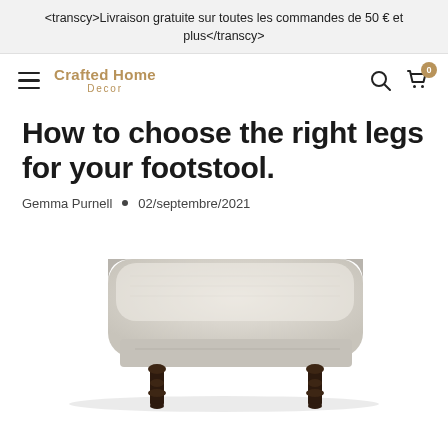<transcy>Livraison gratuite sur toutes les commandes de 50 € et plus</transcy>
[Figure (logo): Hamburger menu icon, Crafted Home Decor logo in gold/tan, search icon, cart icon with badge showing 0]
How to choose the right legs for your footstool.
Gemma Purnell  •  02/septembre/2021
[Figure (photo): A light grey/beige upholstered rectangular footstool with dark turned wooden legs, photographed on a white background.]